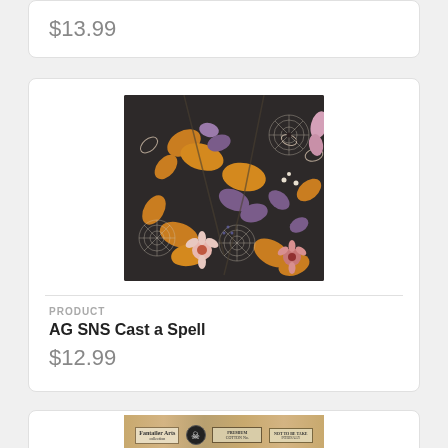$13.99
[Figure (illustration): Dark botanical Halloween pattern with orange autumn leaves, purple foliage, spider webs, pink flowers, and decorative elements on a dark charcoal background]
PRODUCT
AG SNS Cast a Spell
$12.99
[Figure (illustration): Partial view of vintage-style label imagery at bottom of page]